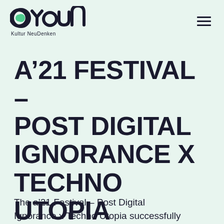oyoun – Kultur NeuDenken
A'21 FESTIVAL – POST DIGITAL IGNORANCE X TECHNO UTOPIA
The a'21 Festival – Post Digital Ignorance x Techno Utopia successfully